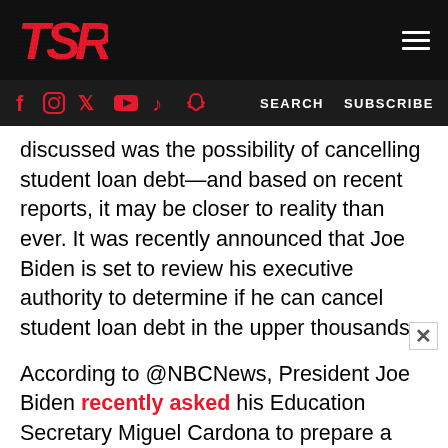TSR [logo] [hamburger menu]
f [instagram] [twitter] [youtube] [tiktok] [snapchat]   SEARCH   SUBSCRIBE
discussed was the possibility of cancelling student loan debt—and based on recent reports, it may be closer to reality than ever. It was recently announced that Joe Biden is set to review his executive authority to determine if he can cancel student loan debt in the upper thousands.
According to @NBCNews, President Joe Biden recently asked his Education Secretary Miguel Cardona to prepare a formal memo on Biden's legal authority to officially cancel student loan debt up to $50,000. White House Chief Of Staff, Ron Klain, stated in a recent interview that after President Biden reviews the memo, he will then...